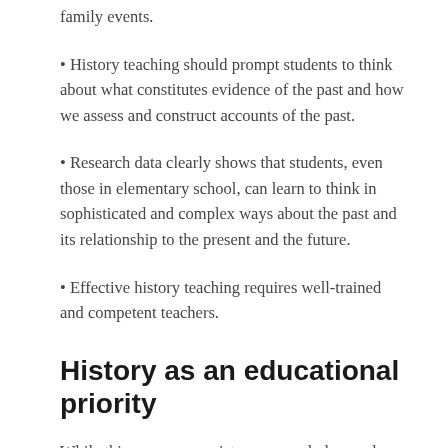• History teaching should prompt students to think about what constitutes evidence of the past and how we assess and construct accounts of the past.
• Research data clearly shows that students, even those in elementary school, can learn to think in sophisticated and complex ways about the past and its relationship to the present and the future.
• Effective history teaching requires well-trained and competent teachers.
History as an educational priority
While this consensus exists among scholars and many history teachers around the world, the conditions in the classroom or